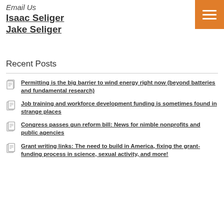Email Us
Isaac Seliger
Jake Seliger
Recent Posts
Permitting is the big barrier to wind energy right now (beyond batteries and fundamental research)
Job training and workforce development funding is sometimes found in strange places
Congress passes gun reform bill: News for nimble nonprofits and public agencies
Grant writing links: The need to build in America, fixing the grant-funding process in science, sexual activity, and more!